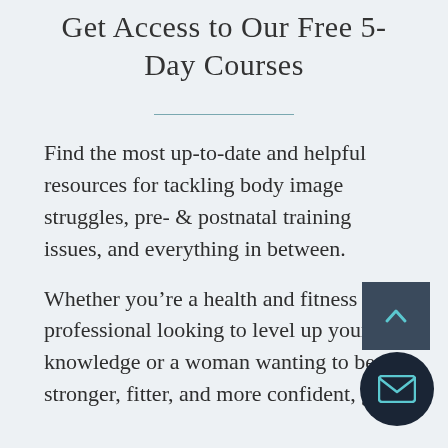Get Access to Our Free 5-Day Courses
Find the most up-to-date and helpful resources for tackling body image struggles, pre- & postnatal training issues, and everything in between.
Whether you’re a health and fitness professional looking to level up your knowledge or a woman wanting to be stronger, fitter, and more confident, get